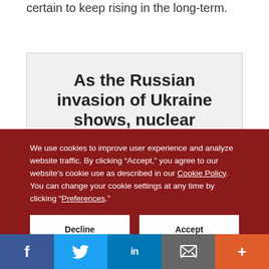certain to keep rising in the long-term.
As the Russian invasion of Ukraine shows, nuclear threats are real, present, and
We use cookies to improve user experience and analyze website traffic. By clicking “Accept,” you agree to our website’s cookie use as described in our Cookie Policy. You can change your cookie settings at any time by clicking “Preferences.”
Decline
Accept
Preferences
f  Twitter  in  Email  +